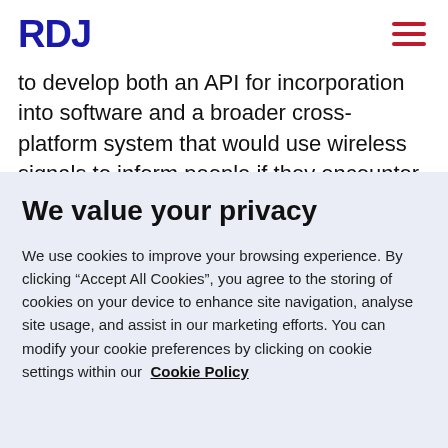RDJ
to develop both an API for incorporation into software and a broader cross-platform system that would use wireless signals to inform people if they encounter someone who has, or is later diagnosed with, COVID-19.
We value your privacy
We use cookies to improve your browsing experience. By clicking “Accept All Cookies”, you agree to the storing of cookies on your device to enhance site navigation, analyse site usage, and assist in our marketing efforts. You can modify your cookie preferences by clicking on cookie settings within our Cookie Policy
Aa
Manage Choices
Accept All Cookies